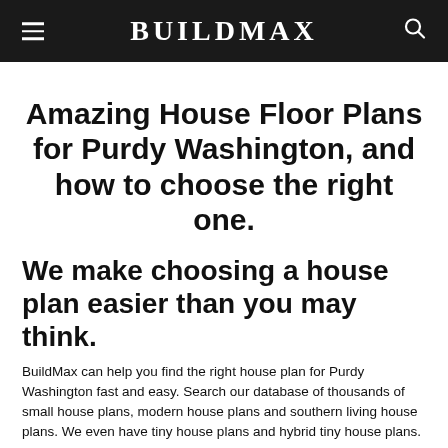BUILDMAX
Amazing House Floor Plans for Purdy Washington, and how to choose the right one.
We make choosing a house plan easier than you may think.
BuildMax can help you find the right house plan for Purdy Washington fast and easy. Search our database of thousands of small house plans, modern house plans and southern living house plans. We even have tiny house plans and hybrid tiny house plans. The BuildMax design team has hand-picked several thousand stock house plans to choose from. We even chose some small house plans and tiny house plans. These plans can be modified by the designers